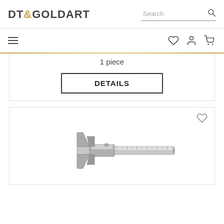[Figure (logo): DT&GOLDART logo with gold ampersand]
[Figure (screenshot): Search bar with search icon]
[Figure (infographic): Navigation bar with hamburger menu, heart/wishlist icon, user account icon, and shopping cart icon]
1 piece
DETAILS
[Figure (photo): Product image of a stainless steel vernier caliper measuring tool]